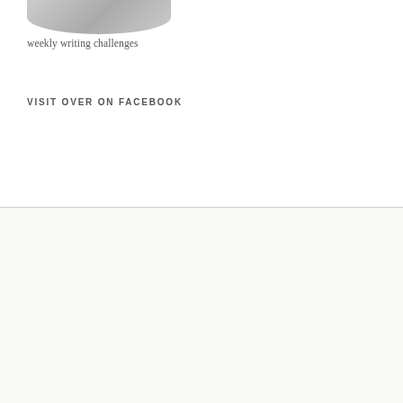[Figure (photo): Partial image of a circular/oval object cropped at top of page]
weekly writing challenges
VISIT OVER ON FACEBOOK
I don't post every day, so your email won't get slammed. Enter your email address to subscribe to this blog and receive notifications of new posts by email.
Join 4,412 other subscribers